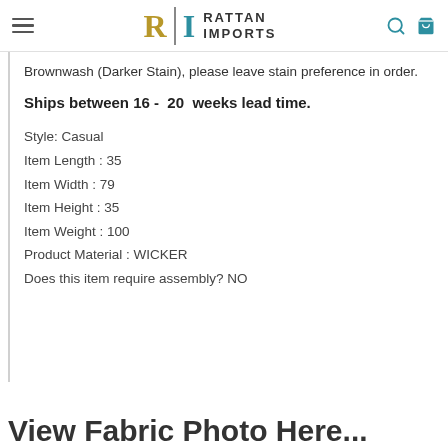Rattan Imports
Brownwash (Darker Stain), please leave stain preference in order.
Ships between 16 - 20 weeks lead time.
Style: Casual
Item Length : 35
Item Width : 79
Item Height : 35
Item Weight : 100
Product Material : WICKER
Does this item require assembly? NO
View Fabric Photo Here